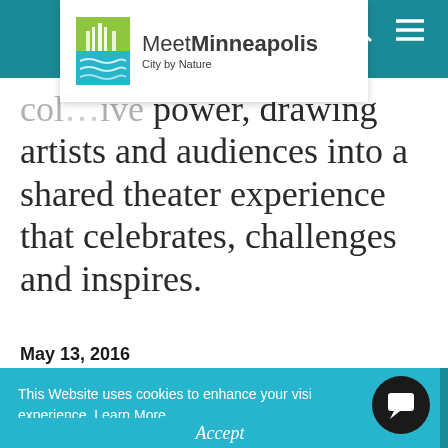Meet Minneapolis – City by Nature
col…ive power, drawing artists and audiences into a shared theater experience that celebrates, challenges and inspires.
May 13, 2016
This Website uses cookies to enhance your vis… experience. Learn More
Accept